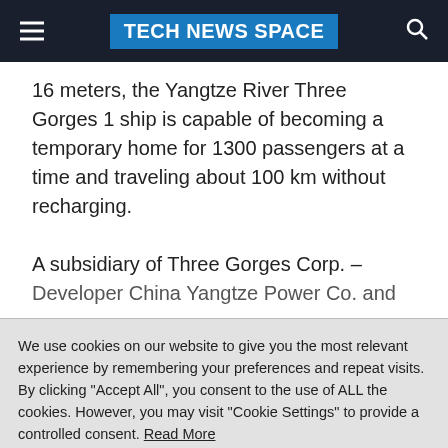TECH NEWS SPACE
16 meters, the Yangtze River Three Gorges 1 ship is capable of becoming a temporary home for 1300 passengers at a time and traveling about 100 km without recharging.

A subsidiary of Three Gorges Corp. – Developer China Yangtze Power Co. and
We use cookies on our website to give you the most relevant experience by remembering your preferences and repeat visits. By clicking "Accept All", you consent to the use of ALL the cookies. However, you may visit "Cookie Settings" to provide a controlled consent. Read More